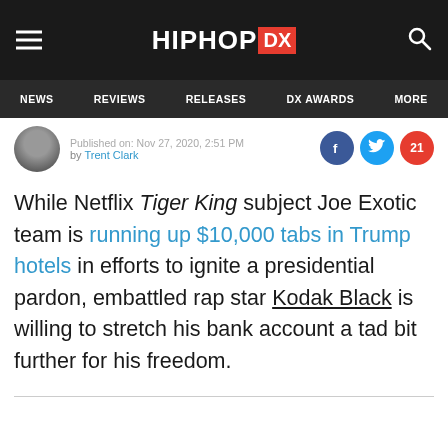HipHopDX — NEWS | REVIEWS | RELEASES | DX AWARDS | MORE
Published on: Nov 27, 2020, 2:51 PM
by Trent Clark
While Netflix Tiger King subject Joe Exotic team is running up $10,000 tabs in Trump hotels in efforts to ignite a presidential pardon, embattled rap star Kodak Black is willing to stretch his bank account a tad bit further for his freedom.